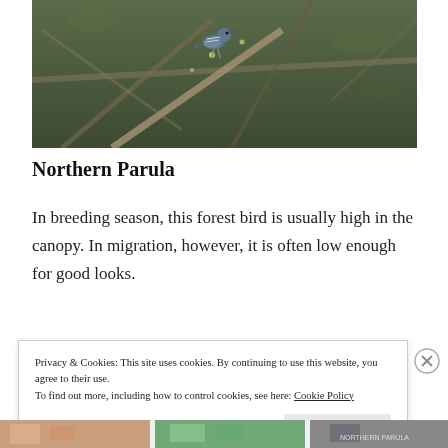[Figure (photo): A bird (Northern Parula warbler) perched on bare branches with small green buds, photographed in natural woodland setting.]
Northern Parula
In breeding season, this forest bird is usually high in the canopy. In migration, however, it is often low enough for good looks.
Privacy & Cookies: This site uses cookies. By continuing to use this website, you agree to their use.
To find out more, including how to control cookies, see here: Cookie Policy
Close and accept
[Figure (photo): Partial bottom strip showing colorful images, partially obscured by cookie banner.]